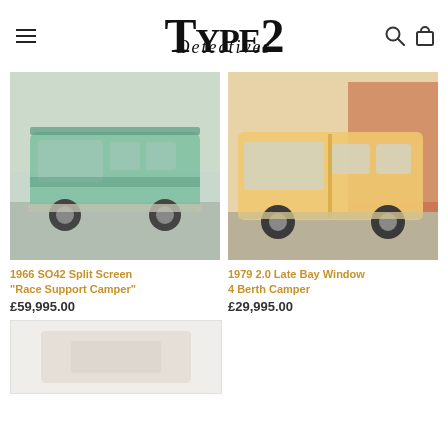TYPE 2 Detectives
[Figure (photo): 1966 VW Split Screen camper van in teal/green color parked in a lot]
1966 SO42 Split Screen "Race Support Camper"
£59,995.00
[Figure (photo): 1979 VW Late Bay Window camper van in yellow/cream color]
1979 2.0 Late Bay Window 4 Berth Camper
£29,995.00
[Figure (photo): Partial view of another vehicle listing, cut off at bottom of page]